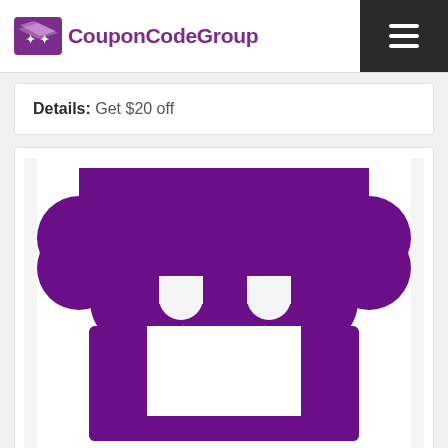[Figure (logo): CouponCodeGroup logo with purple ticket icon and purple text]
Details: Get $20 off
[Figure (illustration): Purple store/shop icon showing an awning with scalloped bottom edge and a counter/stall below]